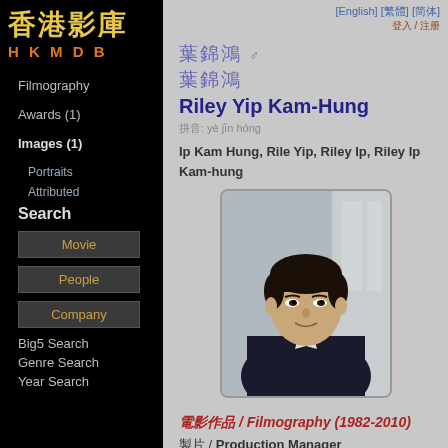香港影庫 HKMDB
Filmography
Awards (1)
Images (1)
Portraits
Attributed
Search
Movie
People
Company
Big5 Search
Genre Search
Year Search
[English] [繁體] [简体]
登入 / 注册
葉錦鴻 ♂
葉錦鴻
Riley Yip Kam-Hung
拼音: yè jǐn hóng
Ip Kam Hung,  Rile Yip,  Riley Ip,  Riley Ip Kam-hung
[Figure (photo): Portrait photo of Riley Yip Kam-Hung, a man with short dark hair wearing a dark jacket]
電影作品 / Filmography (1982-2010)
製片 / Production Manager